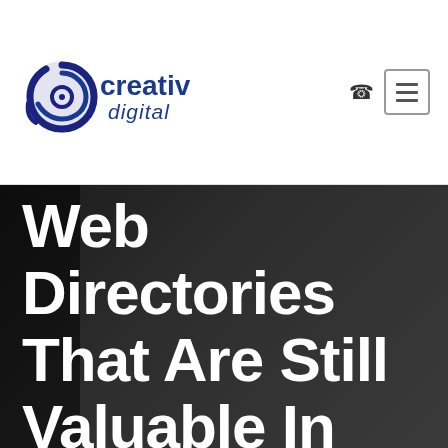[Figure (logo): Creativ Digital logo: a circular swirl icon in dark blue next to the text 'creativ digital' in dark blue]
Web Directories That Are Still Valuable In 2019